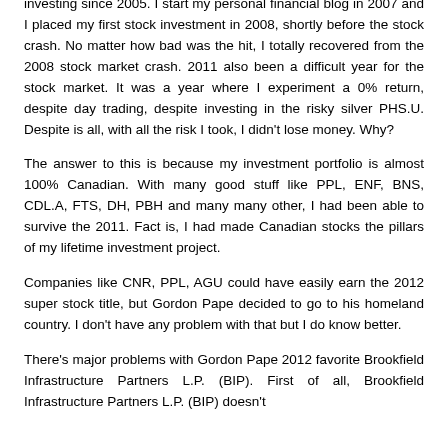investing since 2005. I start my personal financial blog in 2007 and I placed my first stock investment in 2008, shortly before the stock crash. No matter how bad was the hit, I totally recovered from the 2008 stock market crash. 2011 also been a difficult year for the stock market. It was a year where I experiment a 0% return, despite day trading, despite investing in the risky silver PHS.U. Despite is all, with all the risk I took, I didn't lose money. Why?
The answer to this is because my investment portfolio is almost 100% Canadian. With many good stuff like PPL, ENF, BNS, CDL.A, FTS, DH, PBH and many many other, I had been able to survive the 2011. Fact is, I had made Canadian stocks the pillars of my lifetime investment project.
Companies like CNR, PPL, AGU could have easily earn the 2012 super stock title, but Gordon Pape decided to go to his homeland country. I don't have any problem with that but I do know better.
There's major problems with Gordon Pape 2012 favorite Brookfield Infrastructure Partners L.P. (BIP). First of all, Brookfield Infrastructure Partners L.P. (BIP) doesn't...